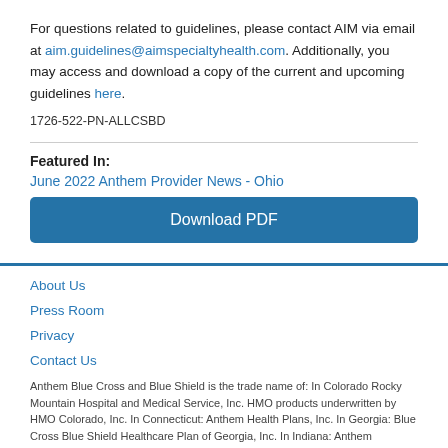For questions related to guidelines, please contact AIM via email at aim.guidelines@aimspecialtyhealth.com. Additionally, you may access and download a copy of the current and upcoming guidelines here.
1726-522-PN-ALLCSBD
Featured In:
June 2022 Anthem Provider News - Ohio
Download PDF
About Us
Press Room
Privacy
Contact Us
Anthem Blue Cross and Blue Shield is the trade name of: In Colorado Rocky Mountain Hospital and Medical Service, Inc. HMO products underwritten by HMO Colorado, Inc. In Connecticut: Anthem Health Plans, Inc. In Georgia: Blue Cross Blue Shield Healthcare Plan of Georgia, Inc. In Indiana: Anthem Insurance Companies, Inc. In Kentucky: Anthem Health